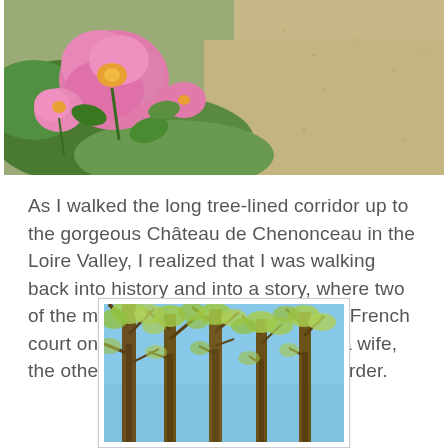[Figure (photo): Close-up photo of pink roses/flowers with green foliage on a sandy/gravelly path background]
As I walked the long tree-lined corridor up to the gorgeous Château de Chenonceau in the Loire Valley, I realized that I was walking back into history and into a story, where two of the most fascinating women of the French court once took centre stage — one a wife, the other a mistress, and not in that order.
[Figure (photo): Photo looking up through tall trees with bare branches and fresh spring green foliage against a blue sky]